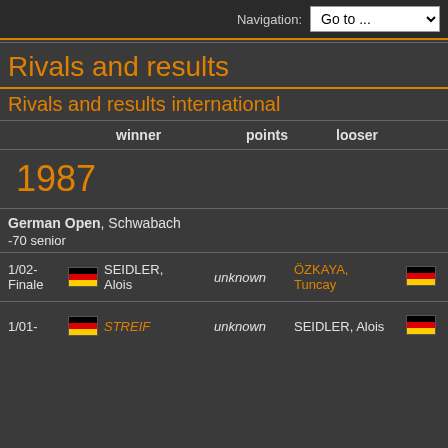Navigation: Go to ...
Rivals and results
Rivals and results international
|  | winner | points | looser |  |
| --- | --- | --- | --- | --- |
| 1987 |  |  |  |  |
| German Open, Schwabach -70 senior |  |  |  |  |
| 1/02-Finale | [DE flag] | SEIDLER, Alois | unknown | ÖZKAYA, Tuncay | [DE flag] |
| 1/01- | [DE flag] | STREIF | unknown | SEIDLER, Alois | [DE flag] |